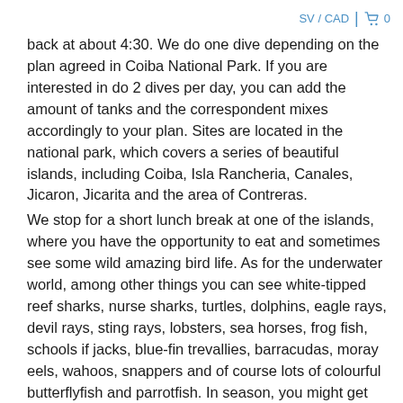SV / CAD  🛒 0
back at about 4:30. We do one dive depending on the plan agreed in Coiba National Park. If you are interested in do 2 dives per day, you can add the amount of tanks and the correspondent mixes accordingly to your plan. Sites are located in the national park, which covers a series of beautiful islands, including Coiba, Isla Rancheria, Canales, Jicaron, Jicarita and the area of Contreras.
We stop for a short lunch break at one of the islands, where you have the opportunity to eat and sometimes see some wild amazing bird life. As for the underwater world, among other things you can see white-tipped reef sharks, nurse sharks, turtles, dolphins, eagle rays, devil rays, sting rays, lobsters, sea horses, frog fish, schools if jacks, blue-fin trevallies, barracudas, moray eels, wahoos, snappers and of course lots of colourful butterflyfish and parrotfish. In season, you might get lucky and spot a whale shark (January to April) or a humpback whale (July to September).